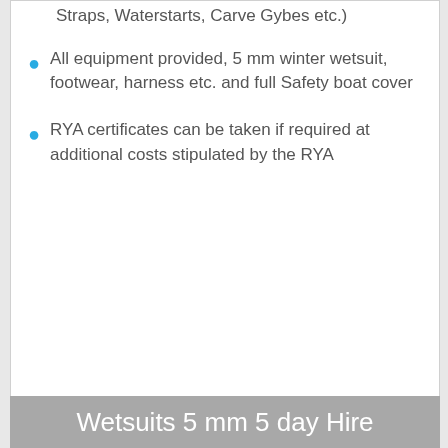Straps, Waterstarts, Carve Gybes etc.)
All equipment provided, 5 mm winter wetsuit, footwear, harness etc. and full Safety boat cover
RYA certificates can be taken if required at additional costs stipulated by the RYA
Wetsuits 5 mm 5 day Hire